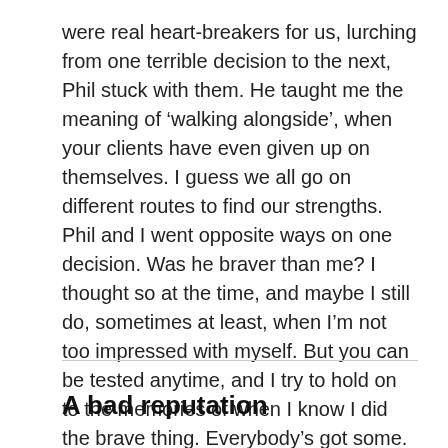were real heart-breakers for us, lurching from one terrible decision to the next, Phil stuck with them. He taught me the meaning of 'walking alongside', when your clients have even given up on themselves. I guess we all go on different routes to find our strengths. Phil and I went opposite ways on one decision. Was he braver than me? I thought so at the time, and maybe I still do, sometimes at least, when I'm not too impressed with myself. But you can be tested anytime, and I try to hold on to the memories of when I know I did the brave thing. Everybody's got some.
A bad reputation